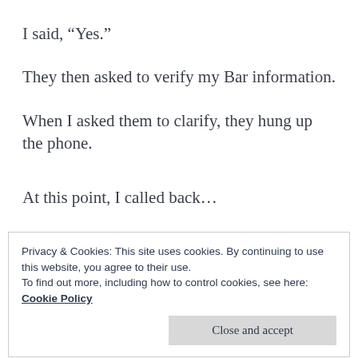I said, “Yes.”
They then asked to verify my Bar information.
When I asked them to clarify, they hung up the phone.
At this point, I called back…
I told the caller that I had gotten a call and that
Privacy & Cookies: This site uses cookies. By continuing to use this website, you agree to their use.
To find out more, including how to control cookies, see here: Cookie Policy
wanted to play anymore.